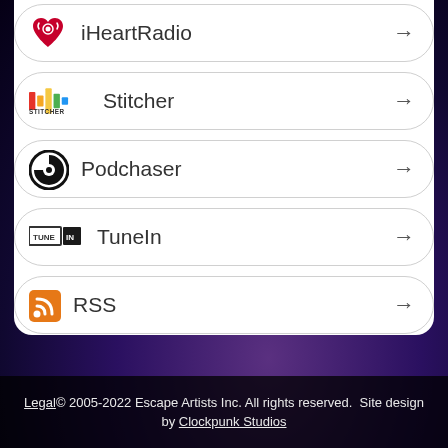iHeartRadio
Stitcher
Podchaser
TuneIn
RSS
Legal© 2005-2022 Escape Artists Inc. All rights reserved. Site design by Clockpunk Studios